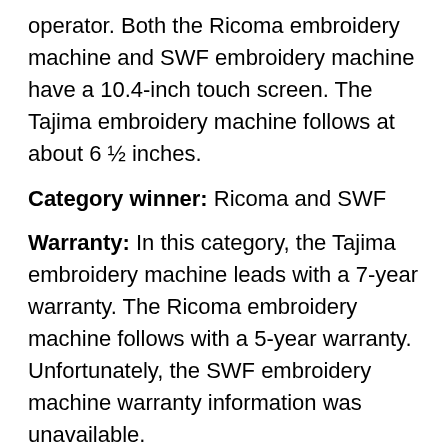operator. Both the Ricoma embroidery machine and SWF embroidery machine have a 10.4-inch touch screen. The Tajima embroidery machine follows at about 6 ½ inches.
Category winner: Ricoma and SWF
Warranty: In this category, the Tajima embroidery machine leads with a 7-year warranty. The Ricoma embroidery machine follows with a 5-year warranty. Unfortunately, the SWF embroidery machine warranty information was unavailable.
Category winner: Tajima
Financing: Financing is the best solution for a